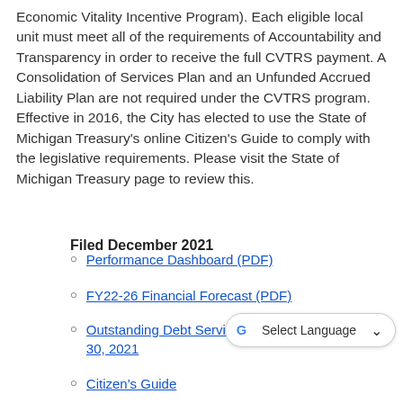Economic Vitality Incentive Program). Each eligible local unit must meet all of the requirements of Accountability and Transparency in order to receive the full CVTRS payment. A Consolidation of Services Plan and an Unfunded Accrued Liability Plan are not required under the CVTRS program. Effective in 2016, the City has elected to use the State of Michigan Treasury's online Citizen's Guide to comply with the legislative requirements. Please visit the State of Michigan Treasury page to review this.
Filed December 2021
Performance Dashboard (PDF)
FY22-26 Financial Forecast (PDF)
Outstanding Debt Service as of June 30, 2021
Citizen's Guide